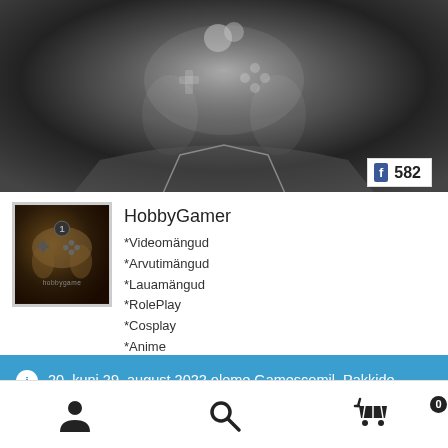[Figure (photo): Black and white banner image showing hands holding a game controller, grayscale photo used as profile cover]
f 582
[Figure (photo): HobbyGamer profile avatar showing a stylized game controller graphic on dark sepia background with 'hobbygamer' text]
HobbyGamer
*Videomängud
*Arvutimängud
*Lauamängud
*RolePlay
*Cosplay
*Anime
20. kuni 29. august 2022 oleme Gamescomil. Pakkide saatmist sellel ajal ei toimu. Alates 30. august tavapärane graafik taastub.
Peida